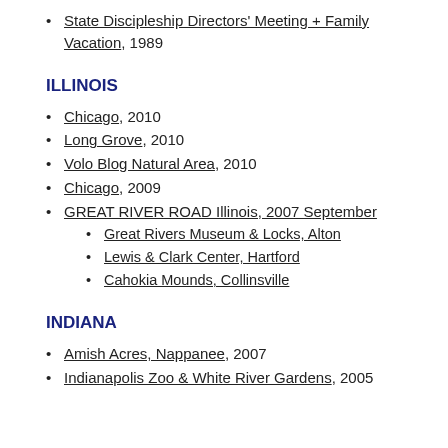State Discipleship Directors' Meeting + Family Vacation, 1989
ILLINOIS
Chicago, 2010
Long Grove, 2010
Volo Blog Natural Area, 2010
Chicago, 2009
GREAT RIVER ROAD Illinois, 2007 September
Great Rivers Museum & Locks, Alton
Lewis & Clark Center, Hartford
Cahokia Mounds, Collinsville
INDIANA
Amish Acres, Nappanee, 2007
Indianapolis Zoo & White River Gardens, 2005